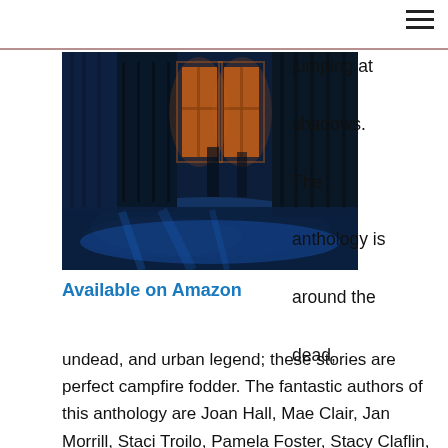[Figure (photo): Dark atmospheric photo of a wooden interior with blue lighting and orange-lit windows, suggesting a haunted or eerie setting]
jumping at shadows. The anthology is around the dead, undead, and urban legend; these stories are perfect campfire fodder. The fantastic authors of this anthology are Joan Hall, Mae Clair, Jan Morrill, Staci Troilo, Pamela Foster, Stacy Claflin, Michele Jones, K.E. Lane, Harmony Kent, and C.S. Boyack.
Available on Amazon
These stories contain a delightful Halloween spirit to their plots as they revitalize ghost legends, one scare at a time. I like that each author can